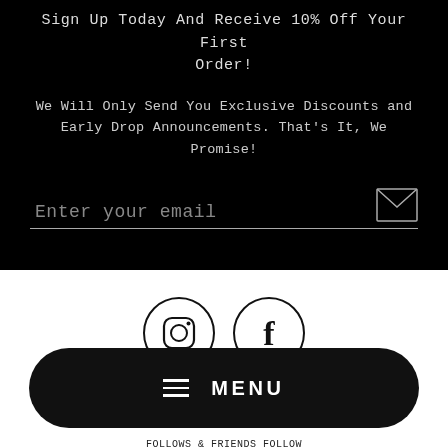Sign Up Today And Receive 10% Off Your First Order!
We Will Only Send You Exclusive Discounts and Early Drop Announcements. That's It, We Promise!
Enter your email
[Figure (screenshot): Social media icons: Instagram and Facebook circles]
MENU
FOLLOWS & FRIENDS FOLLOW